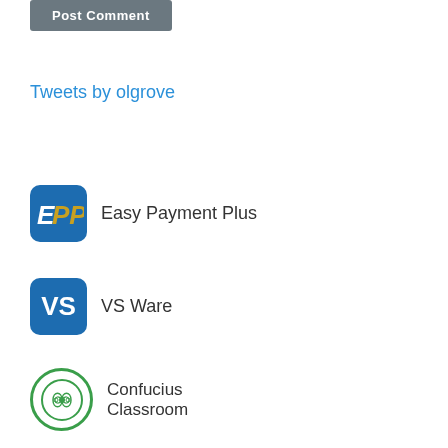[Figure (screenshot): Post Comment button — dark grey rounded rectangle with white text]
Tweets by olgrove
[Figure (logo): Easy Payment Plus logo — blue rounded rectangle with white EPP letters, next to text 'Easy Payment Plus']
[Figure (logo): VS Ware logo — blue rounded rectangle with white VS letters, next to text 'VS Ware']
[Figure (logo): Confucius Classroom logo — green circular emblem with spiral design, next to text 'Confucius Classroom']